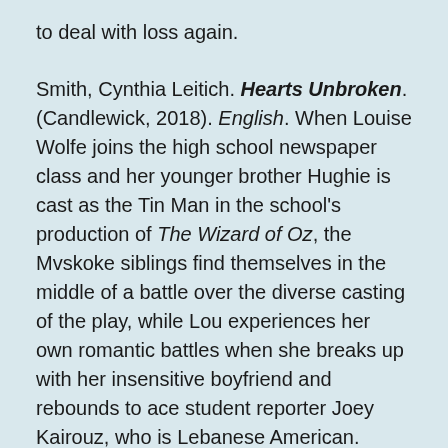to deal with loss again.
Smith, Cynthia Leitich. Hearts Unbroken. (Candlewick, 2018). English. When Louise Wolfe joins the high school newspaper class and her younger brother Hughie is cast as the Tin Man in the school's production of The Wizard of Oz, the Mvskoke siblings find themselves in the middle of a battle over the diverse casting of the play, while Lou experiences her own romantic battles when she breaks up with her insensitive boyfriend and rebounds to ace student reporter Joey Kairouz, who is Lebanese American.
Stevenson, Bryan. Just Mercy (Adapted for